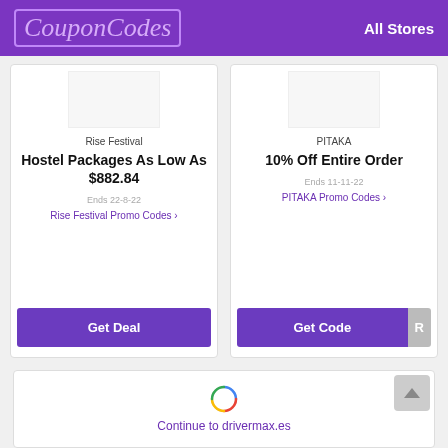CouponCodes — All Stores
[Figure (screenshot): Rise Festival coupon card with placeholder image, store name, deal title Hostel Packages As Low As $882.84, expiry Ends 22-8-22, link Rise Festival Promo Codes, and Get Deal button]
[Figure (screenshot): PITAKA coupon card with placeholder image, store name, deal title 10% Off Entire Order, expiry Ends 11-11-22, link PITAKA Promo Codes, and Get Code button]
[Figure (screenshot): Bottom card with spinner/loading icon and Continue to drivermax.es link]